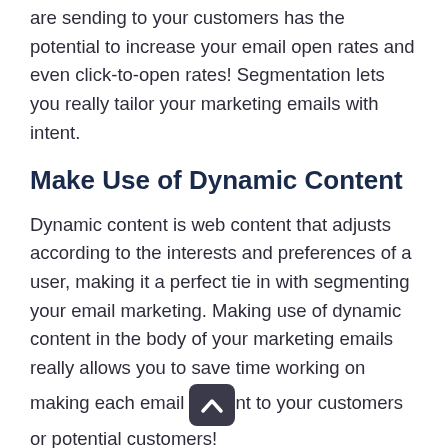are sending to your customers has the potential to increase your email open rates and even click-to-open rates! Segmentation lets you really tailor your marketing emails with intent.
Make Use of Dynamic Content
Dynamic content is web content that adjusts according to the interests and preferences of a user, making it a perfect tie in with segmenting your email marketing. Making use of dynamic content in the body of your marketing emails really allows you to save time working on making each email relevant to your customers or potential customers!